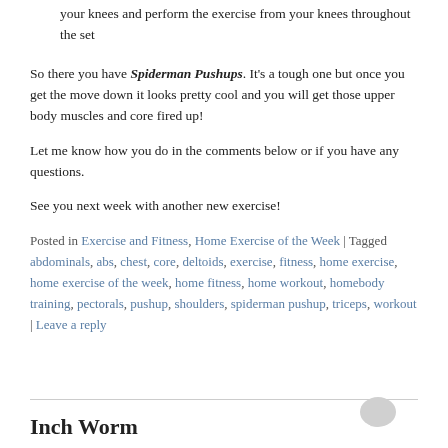your knees and perform the exercise from your knees throughout the set
So there you have Spiderman Pushups. It's a tough one but once you get the move down it looks pretty cool and you will get those upper body muscles and core fired up!
Let me know how you do in the comments below or if you have any questions.
See you next week with another new exercise!
Posted in Exercise and Fitness, Home Exercise of the Week | Tagged abdominals, abs, chest, core, deltoids, exercise, fitness, home exercise, home exercise of the week, home fitness, home workout, homebody training, pectorals, pushup, shoulders, spiderman pushup, triceps, workout | Leave a reply
Inch Worm